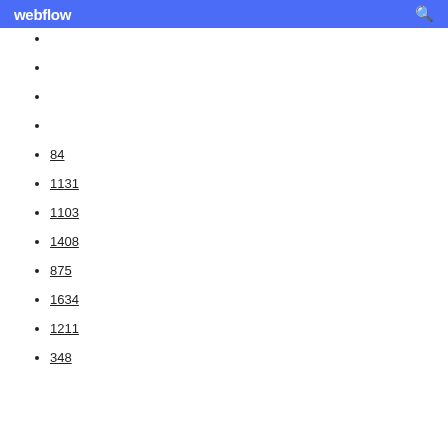webflow
84
1131
1103
1408
875
1634
1211
348